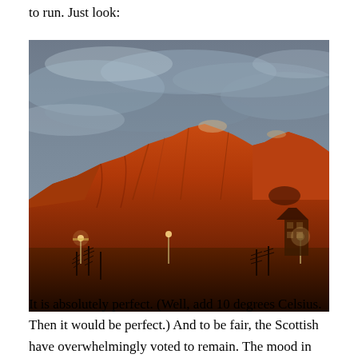to run. Just look:
[Figure (photo): A dramatic photo of a large reddish-orange mountain (likely Arthur's Seat in Edinburgh, Scotland) illuminated in warm sunset/sunrise light against a dark grey cloudy sky. Street lights and bare trees are visible at the base of the mountain.]
It is absolutely perfect. (Well, add 10 degrees Celsius. Then it would be perfect.) And to be fair, the Scottish have overwhelmingly voted to remain. The mood in Scotland is